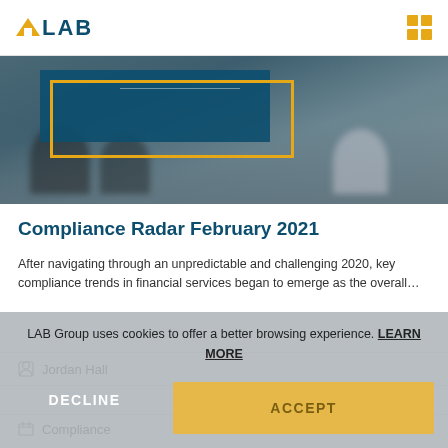LAB
[Figure (photo): Blurred photo of people around a table with a dark teal overlaid box with yellow border in the upper portion]
Compliance Radar February 2021
After navigating through an unpredictable and challenging 2020, key compliance trends in financial services began to emerge as the overall…
Jordan Hall
Compliance
LAB Group uses cookies to offer a better browsing experience. LEARN MORE
DECLINE
ACCEPT